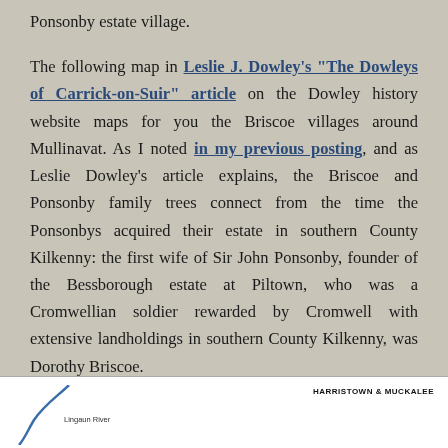Ponsonby estate village.
The following map in Leslie J. Dowley's "The Dowleys of Carrick-on-Suir" article on the Dowley history website maps for you the Briscoe villages around Mullinavat. As I noted in my previous posting, and as Leslie Dowley's article explains, the Briscoe and Ponsonby family trees connect from the time the Ponsonbys acquired their estate in southern County Kilkenny: the first wife of Sir John Ponsonby, founder of the Bessborough estate at Piltown, who was a Cromwellian soldier rewarded by Cromwell with extensive landholdings in southern County Kilkenny, was Dorothy Briscoe.
[Figure (map): Partial view of a historical map showing Harristown & Muckalee region, with a river (Lingaun River) visible on the left side. White background with black line art.]